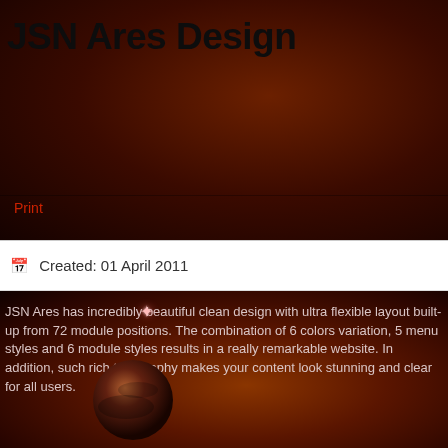JSN Ares Design
Print
Created: 01 April 2011
JSN Ares has incredibly beautiful clean design with ultra flexible layout built-up from 72 module positions. The combination of 6 colors variation, 5 menu styles and 6 module styles results in a really remarkable website. In addition, such rich typography makes your content look stunning and clear for all users.
Layout
61+ module positions allowing you to have multiple layout configurations. All module positions are collapsible and can arrange modules in horizontal or vertical layout.
More about layout
Color Variations